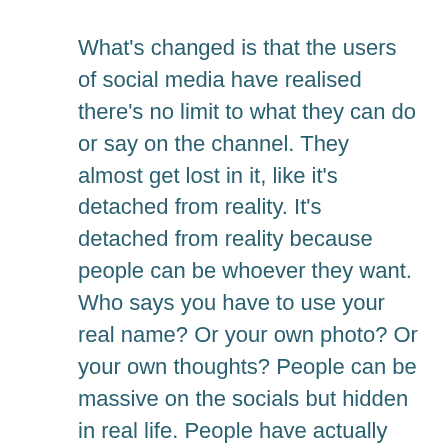What's changed is that the users of social media have realised there's no limit to what they can do or say on the channel. They almost get lost in it, like it's detached from reality. It's detached from reality because people can be whoever they want. Who says you have to use your real name? Or your own photo? Or your own thoughts? People can be massive on the socials but hidden in real life. People have actually forgotten that social media is a part of the real world.
This can cause trouble. I remember I got suspended in school for uploading a video of a kid singing a Peter Andre song and pranking another kid. I thought it was hilarious. But I forgot the people who were seeing this were real people